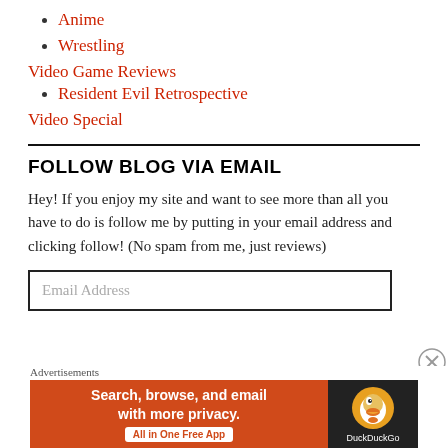Anime
Wrestling
Video Game Reviews
Resident Evil Retrospective
Video Special
FOLLOW BLOG VIA EMAIL
Hey! If you enjoy my site and want to see more than all you have to do is follow me by putting in your email address and clicking follow! (No spam from me, just reviews)
Email Address
Advertisements
[Figure (other): DuckDuckGo advertisement banner: orange left panel with text 'Search, browse, and email with more privacy. All in One Free App' and dark right panel with DuckDuckGo duck logo.]